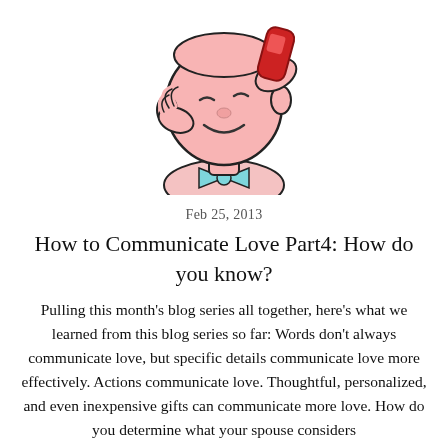[Figure (illustration): Cartoon illustration of a person talking on a red telephone, shown from the neck up, wearing a light blue bow tie, with pink/flesh-toned skin and dark outlines in a comic style.]
Feb 25, 2013
How to Communicate Love Part4: How do you know?
Pulling this month's blog series all together, here's what we learned from this blog series so far: Words don't always communicate love, but specific details communicate love more effectively. Actions communicate love. Thoughtful, personalized, and even inexpensive gifts can communicate more love. How do you determine what your spouse considers